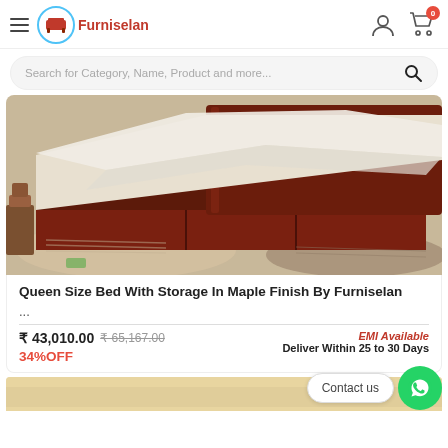Furniselan
Search for Category, Name, Product and more...
[Figure (photo): A dark reddish-brown wooden queen size bed with storage, white bedding partially draped, on a beige and brown textured rug floor background.]
Queen Size Bed With Storage In Maple Finish By Furniselan ...
₹ 43,010.00  ₹ 65,167.00
34%OFF
EMI Available
Deliver Within 25 to 30 Days